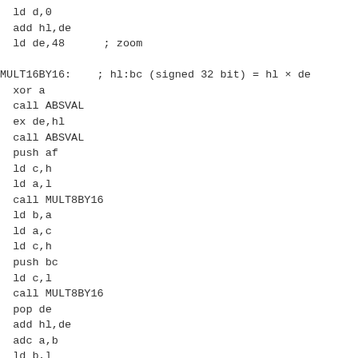ld d,0
  add hl,de
  ld de,48      ; zoom

MULT16BY16:    ; hl:bc (signed 32 bit) = hl × de
  xor a
  call ABSVAL
  ex de,hl
  call ABSVAL
  push af
  ld c,h
  ld a,l
  call MULT8BY16
  ld b,a
  ld a,c
  ld c,h
  push bc
  ld c,l
  call MULT8BY16
  pop de
  add hl,de
  adc a,b
  ld b,l
  ld l,h
  ld h,a
  pop af
  rra